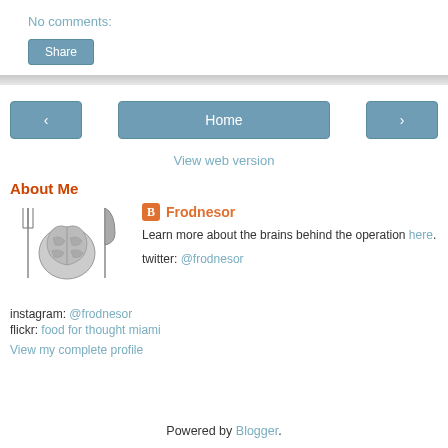No comments:
Share
Home
View web version
About Me
[Figure (illustration): Brain on a plate with fork and knife, blogger profile image]
Frodnesor
Learn more about the brains behind the operation here.
twitter: @frodnesor
instagram: @frodnesor
flickr: food for thought miami
View my complete profile
Powered by Blogger.